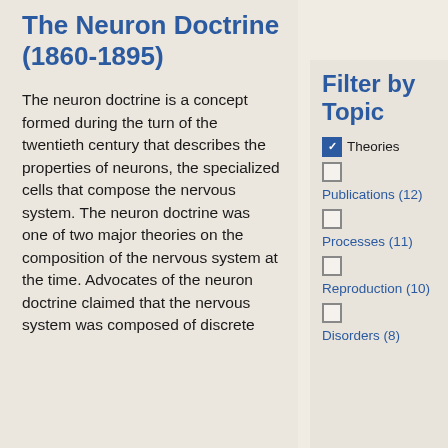The Neuron Doctrine (1860-1895)
The neuron doctrine is a concept formed during the turn of the twentieth century that describes the properties of neurons, the specialized cells that compose the nervous system. The neuron doctrine was one of two major theories on the composition of the nervous system at the time. Advocates of the neuron doctrine claimed that the nervous system was composed of discrete
Filter by Topic
✓ Theories
Publications (12)
Processes (11)
Reproduction (10)
Disorders (8)